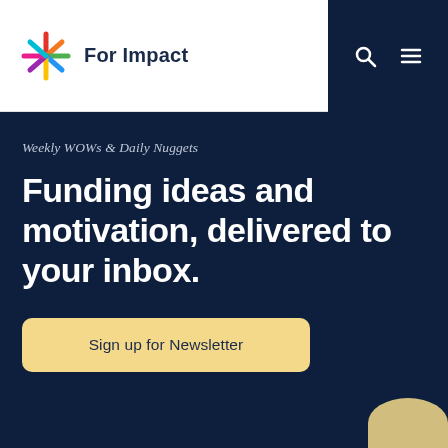For Impact
Weekly WOWs & Daily Nuggets
Funding ideas and motivation, delivered to your inbox.
Sign up for Newsletter